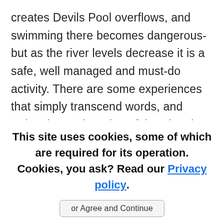creates Devils Pool overflows, and swimming there becomes dangerous- but as the river levels decrease it is a safe, well managed and must-do activity. There are some experiences that simply transcend words, and swimming to the edge of the Victoria Falls is one of them. To float above one of the worlds natural
This site uses cookies, some of which are required for its operation. Cookies, you ask? Read our Privacy policy. or Agree and Continue